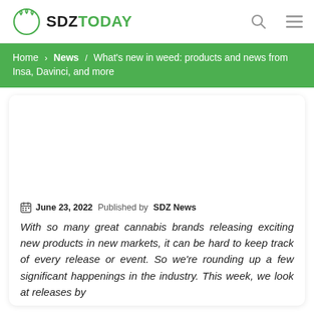SDZTODAY
Home › News › What's new in weed: products and news from Insa, Davinci, and more
June 23, 2022 Published by SDZ News
With so many great cannabis brands releasing exciting new products in new markets, it can be hard to keep track of every release or event. So we're rounding up a few significant happenings in the industry. This week, we look at releases by